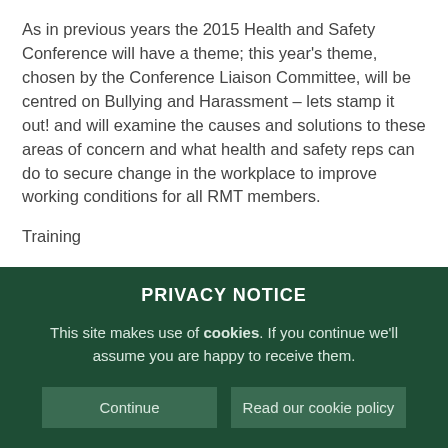As in previous years the 2015 Health and Safety Conference will have a theme; this year's theme, chosen by the Conference Liaison Committee, will be centred on Bullying and Harassment – lets stamp it out! and will examine the causes and solutions to these areas of concern and what health and safety reps can do to secure change in the workplace to improve working conditions for all RMT members.
Training
PRIVACY NOTICE
This site makes use of cookies. If you continue we'll assume you are happy to receive them.
Continue | Read our cookie policy